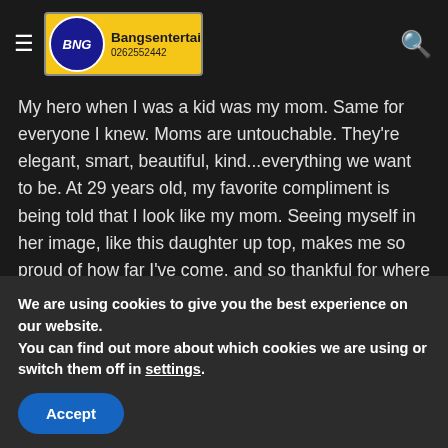Bangsentertain.Com 0262552442
My hero when I was a kid was my mom. Same for everyone I knew. Moms are untouchable. They're elegant, smart, beautiful, kind...everything we want to be. At 29 years old, my favorite compliment is being told that I look like my mom. Seeing myself in her image, like this daughter up top, makes me so proud of how far I've come, and so thankful for where I come from.

Moms are like...buttons? Moms are like glue. Moms are like pizza crusts. Moms are the ones who make sure things
We are using cookies to give you the best experience on our website.
You can find out more about which cookies we are using or switch them off in settings.
Accept